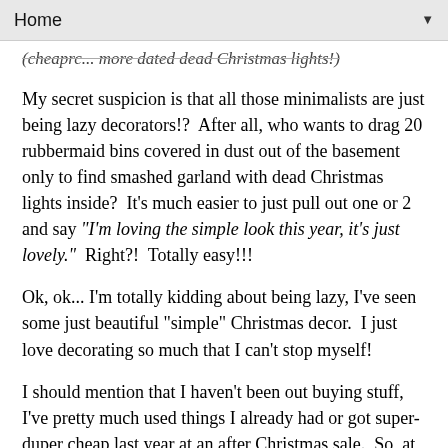Home
(cheaprc... more dated dead Christmas lights!)
My secret suspicion is that all those minimalists are just being lazy decorators!?  After all, who wants to drag 20 rubbermaid bins covered in dust out of the basement only to find smashed garland with dead Christmas lights inside?  It's much easier to just pull out one or 2 and say "I'm loving the simple look this year, it's just lovely."  Right?!  Totally easy!!!
Ok, ok... I'm totally kidding about being lazy, I've seen some just beautiful "simple" Christmas decor.  I just love decorating so much that I can't stop myself!
I should mention that I haven't been out buying stuff, I've pretty much used things I already had or got super-duper cheap last year at an after Christmas sale.  So, at least I'm not going out blowing lots of money on new decorations for my not-so-simple Christmas decor. (I should get bonus points for that for sure!)
Anywho, I'd love to share my not-so-simple decor.  It is only not-so-simple because it required lots of rubbermaid bins to be drug up